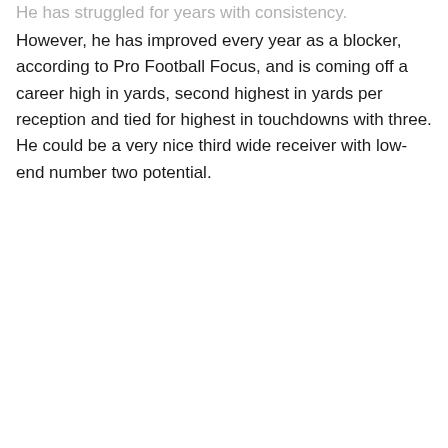He has struggled for years with consistency. However, he has improved every year as a blocker, according to Pro Football Focus, and is coming off a career high in yards, second highest in yards per reception and tied for highest in touchdowns with three. He could be a very nice third wide receiver with low-end number two potential.